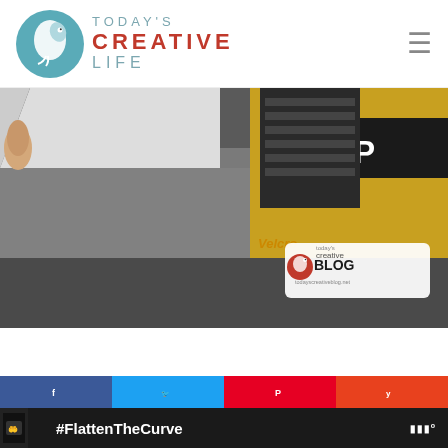TODAY'S CREATIVE LIFE
[Figure (photo): Close-up photo of a dark gray textured mat or surface being lifted, with product packaging visible in the background showing 'GIP' and other text, and a 'Today's Creative Blog' watermark overlay in the lower right corner.]
[Figure (infographic): Social media share buttons: Facebook (blue), Twitter (light blue), Pinterest (red), and Yummly (orange)]
[Figure (infographic): Advertisement banner: black background with '#FlattenTheCurve' text, hand washing image, close button (X), and Walmart logo on right]